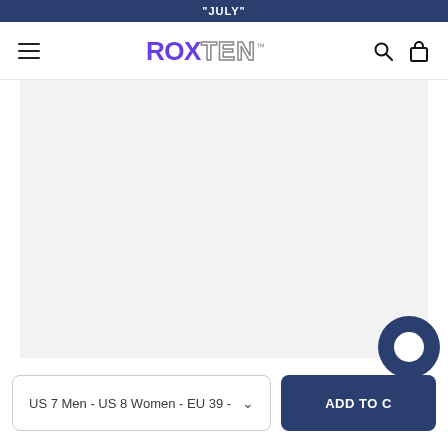"JULY"
[Figure (logo): ROXTEN logo with ROX in purple and TEN in outlined gray letters with TM superscript]
[Figure (photo): Product image area (light gray placeholder)]
US 7 Men - US 8 Women - EU 39 -
ADD TO C